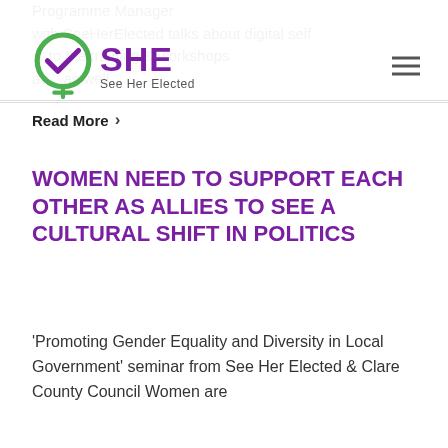Programme Manager with SeeHerElected talks about digital self ... to the training & workshops av... as well...
[Figure (logo): See Her Elected (SHE) logo — green and purple female symbol with checkmark, purple SHE text and 'See Her Elected' tagline]
Read More >
WOMEN NEED TO SUPPORT EACH OTHER AS ALLIES TO SEE A CULTURAL SHIFT IN POLITICS
'Promoting Gender Equality and Diversity in Local Government' seminar from See Her Elected & Clare County Council Women are